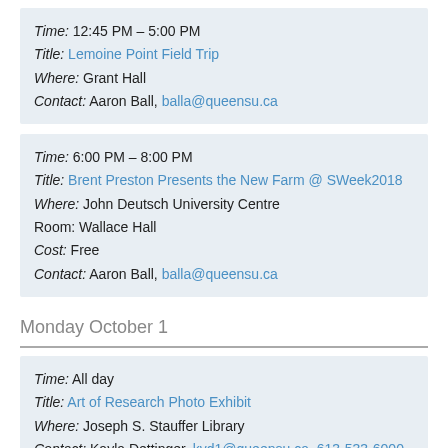Time: 12:45 PM – 5:00 PM
Title: Lemoine Point Field Trip
Where: Grant Hall
Contact: Aaron Ball, balla@queensu.ca
Time: 6:00 PM – 8:00 PM
Title: Brent Preston Presents the New Farm @ SWeek2018
Where: John Deutsch University Centre
Room: Wallace Hall
Cost: Free
Contact: Aaron Ball, balla@queensu.ca
Monday October 1
Time: All day
Title: Art of Research Photo Exhibit
Where: Joseph S. Stauffer Library
Contact: Kayla Dettinger, kvd1@queensu.ca, 613-533-6000 ext. 78158
Time: All day
Title: Dumpster Art Contest